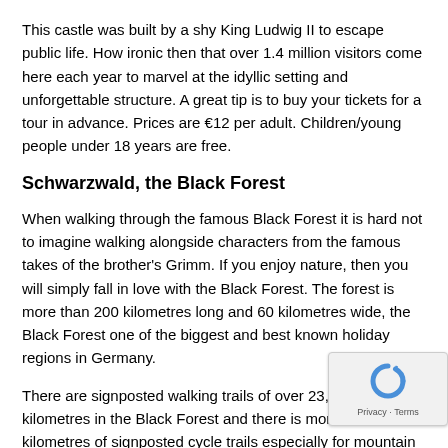This castle was built by a shy King Ludwig II to escape public life. How ironic then that over 1.4 million visitors come here each year to marvel at the idyllic setting and unforgettable structure. A great tip is to buy your tickets for a tour in advance. Prices are €12 per adult. Children/young people under 18 years are free.
Schwarzwald, the Black Forest
When walking through the famous Black Forest it is hard not to imagine walking alongside characters from the famous takes of the brother's Grimm. If you enjoy nature, then you will simply fall in love with the Black Forest. The forest is more than 200 kilometres long and 60 kilometres wide, the Black Forest one of the biggest and best known holiday regions in Germany.
There are signposted walking trails of over 23,000 kilometres in the Black Forest and there is more than 8,000 kilometres of signposted cycle trails especially for mountain bikers.